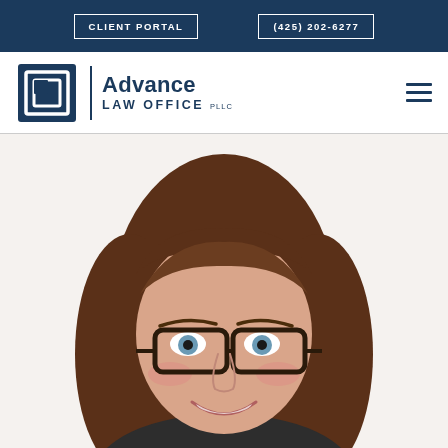CLIENT PORTAL   (425) 202-6277
[Figure (logo): Advance Law Office PLLC logo with square bracket icon and navigation hamburger menu]
[Figure (photo): Portrait photo of a woman with brown hair and glasses, smiling, wearing a dark top]